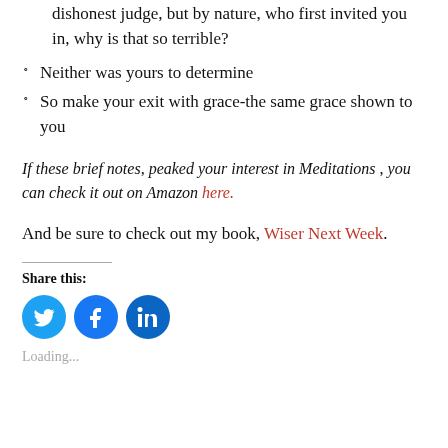dishonest judge, but by nature, who first invited you in, why is that so terrible?
Neither was yours to determine
So make your exit with grace-the same grace shown to you
If these brief notes, peaked your interest in Meditations , you can check it out on Amazon here.
And be sure to check out my book, Wiser Next Week.
Share this:
[Figure (infographic): Three circular social media share buttons: Twitter (blue bird icon), Facebook (blue f icon), LinkedIn (blue in icon)]
Loading...